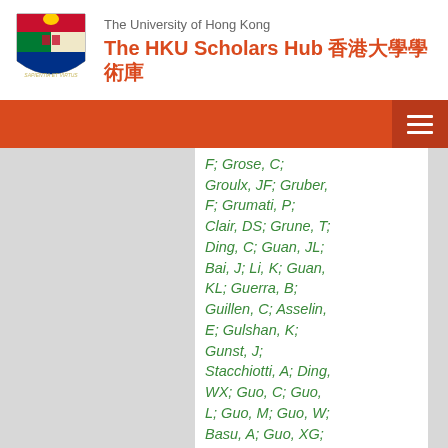The University of Hong Kong — The HKU Scholars Hub 香港大學學術庫
F; Grose, C; Groulx, JF; Gruber, F; Grumati, P; Clair, DS; Grune, T; Ding, C; Guan, JL; Bai, J; Li, K; Guan, KL; Guerra, B; Guillen, C; Asselin, E; Gulshan, K; Gunst, J; Stacchiotti, A; Ding, WX; Guo, C; Guo, L; Guo, M; Guo, W; Basu, A; Guo, XG; Gust, AA; Gustafsson, ÅB; Gutierrez, E; Atarashi, R; Ding